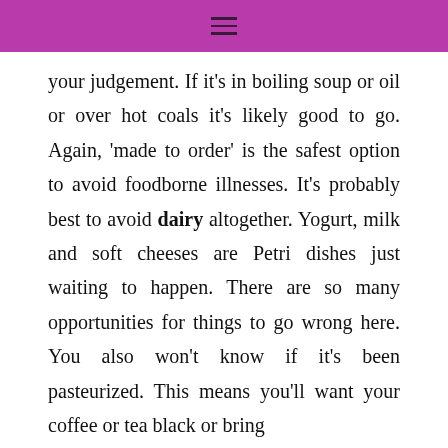≡
your judgement. If it's in boiling soup or oil or over hot coals it's likely good to go. Again, 'made to order' is the safest option to avoid foodborne illnesses. It's probably best to avoid dairy altogether. Yogurt, milk and soft cheeses are Petri dishes just waiting to happen. There are so many opportunities for things to go wrong here. You also won't know if it's been pasteurized. This means you'll want your coffee or tea black or bring